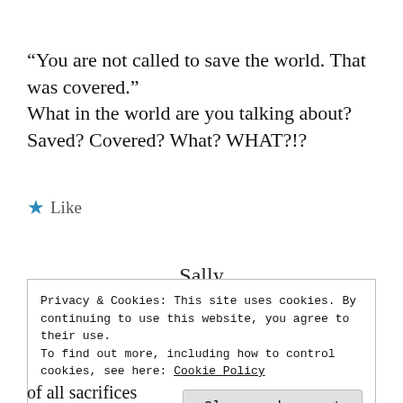“You are not called to save the world. That was covered.”
What in the world are you talking about? Saved? Covered? What? WHAT?!?
★ Like
Sally
Privacy & Cookies: This site uses cookies. By continuing to use this website, you agree to their use.
To find out more, including how to control cookies, see here: Cookie Policy
Close and accept
of all sacrifices